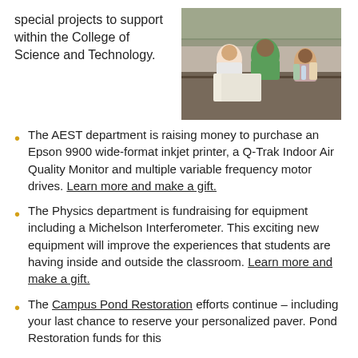special projects to support within the College of Science and Technology.
[Figure (photo): People gathered around a lab table in a science classroom, appearing to collaborate on an experiment or project.]
The AEST department is raising money to purchase an Epson 9900 wide-format inkjet printer, a Q-Trak Indoor Air Quality Monitor and multiple variable frequency motor drives. Learn more and make a gift.
The Physics department is fundraising for equipment including a Michelson Interferometer. This exciting new equipment will improve the experiences that students are having inside and outside the classroom. Learn more and make a gift.
The Campus Pond Restoration efforts continue – including your last chance to reserve your personalized paver. Pond Restoration funds for this